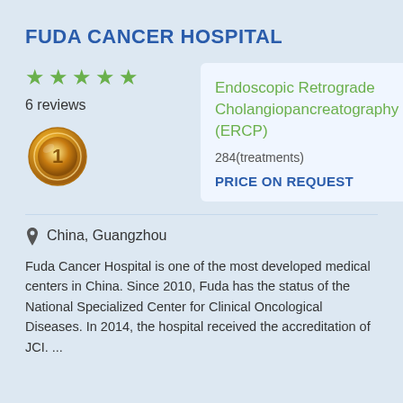FUDA CANCER HOSPITAL
[Figure (other): Five green star rating icons]
6 reviews
[Figure (logo): Gold medal/badge icon]
Endoscopic Retrograde Cholangiopancreatography (ERCP)
284(treatments)
PRICE ON REQUEST
China, Guangzhou
Fuda Cancer Hospital is one of the most developed medical centers in China. Since 2010, Fuda has the status of the National Specialized Center for Clinical Oncological Diseases. In 2014, the hospital received the accreditation of JCI. ...